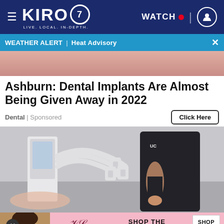KIRO 7 — LIVE. LOCAL. IN-DEPTH. | WATCH
WEATHER ALERT | Heat Advisory
[Figure (photo): Close-up of skin texture, pinkish tone, top portion of an advertisement image]
Ashburn: Dental Implants Are Almost Being Given Away in 2022
Dental | Sponsored
[Figure (photo): Medical/aesthetic device with white hoses and attachments, operated by a person in a black outfit in a clinical setting]
[Figure (photo): Victoria's Secret advertisement banner with a model and text SHOP THE COLLECTION and SHOP NOW button]